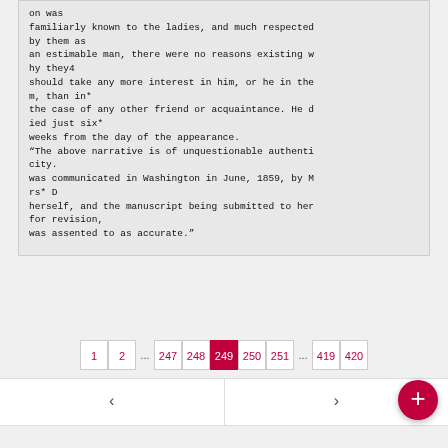on was
familiarly known to the ladies, and much respected
by them as
an estimable man, there were no reasons existing w
hy they4
should take any more interest in him, or he in the
m, than in*
the case of any other friend or acquaintance. He d
ied just six*
weeks from the day of the appearance.
“The above narrative is of unquestionable authenti
city.
was communicated in Washington in June, 1859, by M
rs* D
herself, and the manuscript being submitted to her
for revision,
was assented to as accurate.”
1  2  ...  247  248  249  250  251  ...  419  420